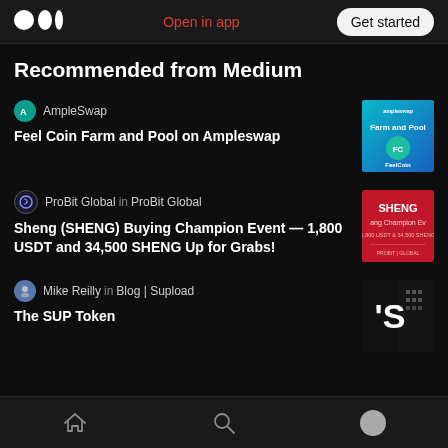Open in app | Get started
Recommended from Medium
AmpleSwap
Feel Coin Farm and Pool on Ampleswap
ProBit Global in ProBit Global
Sheng (SHENG) Buying Champion Event — 1,800 USDT and 34,500 SHENG Up for Grabs!
Mike Reilly in Blog | Supload
The SUP Token
Home | Search | Profile